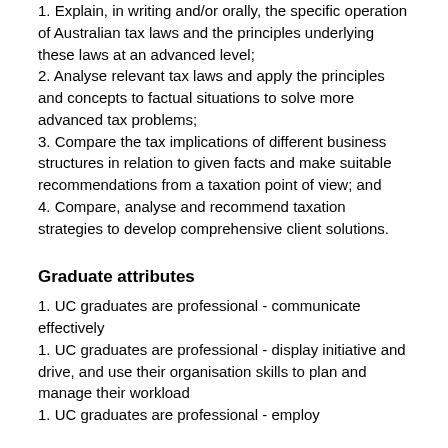1. Explain, in writing and/or orally, the specific operation of Australian tax laws and the principles underlying these laws at an advanced level;
2. Analyse relevant tax laws and apply the principles and concepts to factual situations to solve more advanced tax problems;
3. Compare the tax implications of different business structures in relation to given facts and make suitable recommendations from a taxation point of view; and
4. Compare, analyse and recommend taxation strategies to develop comprehensive client solutions.
Graduate attributes
1. UC graduates are professional - communicate effectively
1. UC graduates are professional - display initiative and drive, and use their organisation skills to plan and manage their workload
1. UC graduates are professional - employ